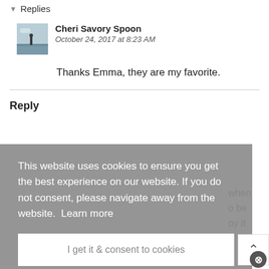▾ Replies
Cheri Savory Spoon
October 24, 2017 at 8:23 AM
Thanks Emma, they are my favorite.
Reply
This website uses cookies to ensure you get the best experience on our website. If you do not consent, please navigate away from the website.  Learn more
I get it & consent to cookies